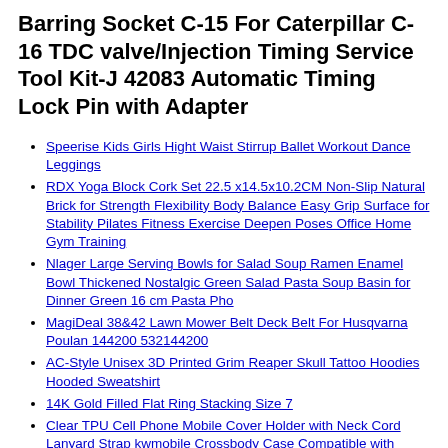Barring Socket C-15 For Caterpillar C-16 TDC valve/Injection Timing Service Tool Kit-J 42083 Automatic Timing Lock Pin with Adapter
Speerise Kids Girls Hight Waist Stirrup Ballet Workout Dance Leggings
RDX Yoga Block Cork Set 22.5 x14.5x10.2CM Non-Slip Natural Brick for Strength Flexibility Body Balance Easy Grip Surface for Stability Pilates Fitness Exercise Deepen Poses Office Home Gym Training
Nlager Large Serving Bowls for Salad Soup Ramen Enamel Bowl Thickened Nostalgic Green Salad Pasta Soup Basin for Dinner Green 16 cm Pasta Pho
MagiDeal 38&42 Lawn Mower Belt Deck Belt For Husqvarna Poulan 144200 532144200
AC-Style Unisex 3D Printed Grim Reaper Skull Tattoo Hoodies Hooded Sweatshirt
14K Gold Filled Flat Ring Stacking Size 7
Clear TPU Cell Phone Mobile Cover Holder with Neck Cord Lanyard Strap kwmobile Crossbody Case Compatible with